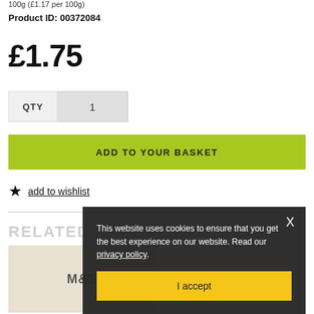100g (£1.17 per 100g)
Product ID: 00372084
£1.75
QTY  1
ADD TO YOUR BASKET
add to wishlist
RELATED PRODUCTS
[Figure (photo): Product image thumbnail with M&S logo]
This website uses cookies to ensure that you get the best experience on our website. Read our privacy policy.
I accept